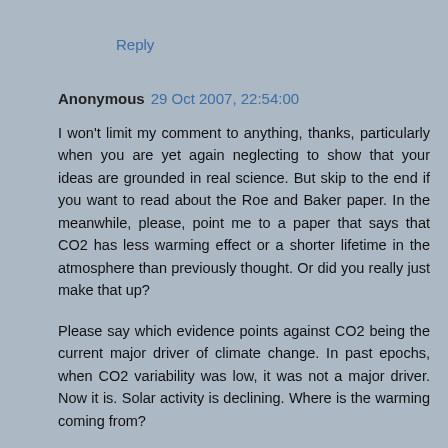Reply
Anonymous 29 Oct 2007, 22:54:00
I won't limit my comment to anything, thanks, particularly when you are yet again neglecting to show that your ideas are grounded in real science. But skip to the end if you want to read about the Roe and Baker paper. In the meanwhile, please, point me to a paper that says that CO2 has less warming effect or a shorter lifetime in the atmosphere than previously thought. Or did you really just make that up?
Please say which evidence points against CO2 being the current major driver of climate change. In past epochs, when CO2 variability was low, it was not a major driver. Now it is. Solar activity is declining. Where is the warming coming from?
So including aerosols in a model is somehow cheating, is it? Did you perhaps not know that aerosols have a massive cooling effect, and that the climate cannot be modelled...